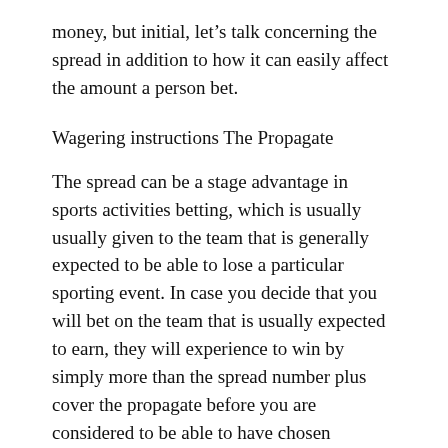money, but initial, let’s talk concerning the spread in addition to how it can easily affect the amount a person bet.
Wagering instructions The Propagate
The spread can be a stage advantage in sports activities betting, which is usually usually given to the team that is generally expected to be able to lose a particular sporting event. In case you decide that you will bet on the team that is usually expected to earn, they will experience to win by simply more than the spread number plus cover the propagate before you are considered to be able to have chosen correctly. If you select the team that will be expected to shed, that team will have to lose by less than the spread number in order with regard to your pick in order to be considered proper. If by probability the team is the winner with the number involving